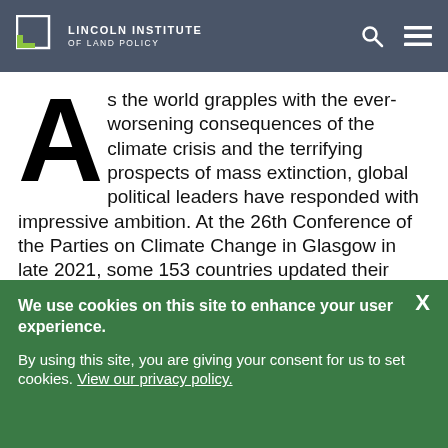LINCOLN INSTITUTE OF LAND POLICY
As the world grapples with the ever-worsening consequences of the climate crisis and the terrifying prospects of mass extinction, global political leaders have responded with impressive ambition. At the 26th Conference of the Parties on Climate Change in Glasgow in late 2021, some 153 countries updated their emissions-reduction commitments to help prevent global average temperatures from rising more than 2 degrees Celsius by 2030 and improve the chances of reaching global
We use cookies on this site to enhance your user experience.
By using this site, you are giving your consent for us to set cookies. View our privacy policy.